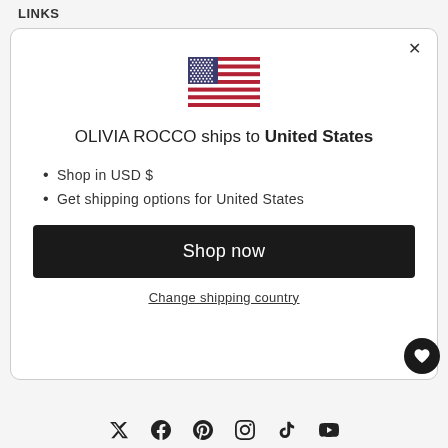LINKS
[Figure (illustration): US flag emoji/icon centered in modal]
OLIVIA ROCCO ships to United States
Shop in USD $
Get shipping options for United States
Shop now
Change shipping country
[Figure (illustration): Social media icons: Twitter, Facebook, Pinterest, Instagram, TikTok, YouTube]